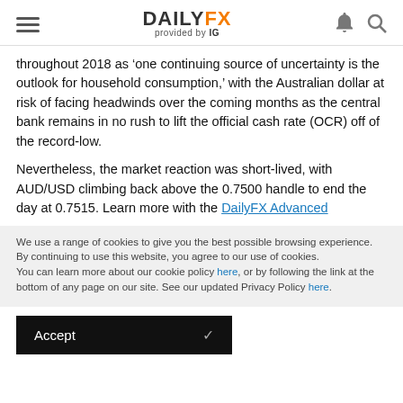DAILYFX provided by IG
throughout 2018 as ‘one continuing source of uncertainty is the outlook for household consumption,’ with the Australian dollar at risk of facing headwinds over the coming months as the central bank remains in no rush to lift the official cash rate (OCR) off of the record-low.
Nevertheless, the market reaction was short-lived, with AUD/USD climbing back above the 0.7500 handle to end the day at 0.7515. Learn more with the DailyFX Advanced
We use a range of cookies to give you the best possible browsing experience. By continuing to use this website, you agree to our use of cookies.
You can learn more about our cookie policy here, or by following the link at the bottom of any page on our site. See our updated Privacy Policy here.
Accept